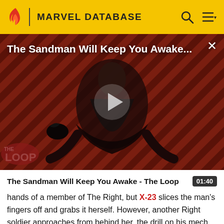MARVEL DATABASE
[Figure (screenshot): Video thumbnail for 'The Sandman Will Keep You Awake - The Loop' showing a dark-cloaked figure against a red and black diagonal striped background with THE LOOP watermark and a play button overlay. Duration: 01:40]
The Sandman Will Keep You Awake - The Loop
hands of a member of The Right, but X-23 slices the man's fingers off and grabs it herself. However, another Right soldier approaches from behind her, the drill on his mech suit whirring. He stabs Laura with the drill, the bit piercing